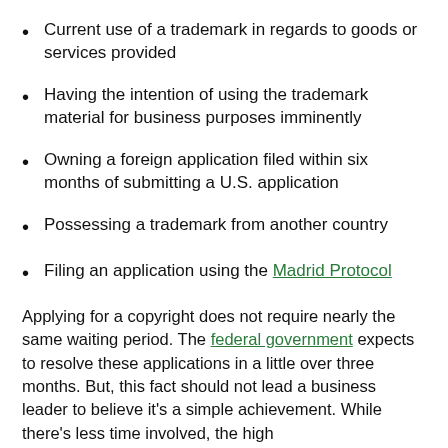Current use of a trademark in regards to goods or services provided
Having the intention of using the trademark material for business purposes imminently
Owning a foreign application filed within six months of submitting a U.S. application
Possessing a trademark from another country
Filing an application using the Madrid Protocol
Applying for a copyright does not require nearly the same waiting period. The federal government expects to resolve these applications in a little over three months. But, this fact should not lead a business leader to believe it’s a simple achievement. While there’s less time involved, the high ...